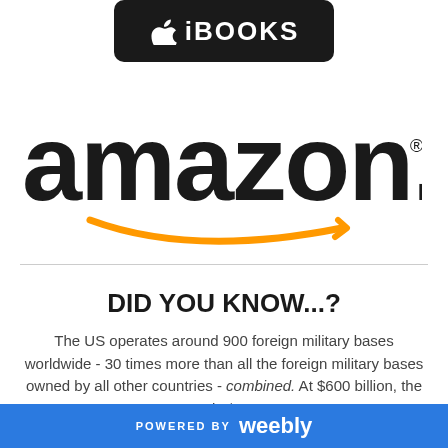[Figure (logo): iBooks app store badge - black rounded rectangle with apple icon and text 'iBOOKS']
[Figure (logo): amazon.com logo with orange smile/arrow underneath the text]
DID YOU KNOW...?
The US operates around 900 foreign military bases worldwide - 30 times more than all the foreign military bases owned by all other countries - combined. At $600 billion, the US spends $5,000 per
POWERED BY weebly